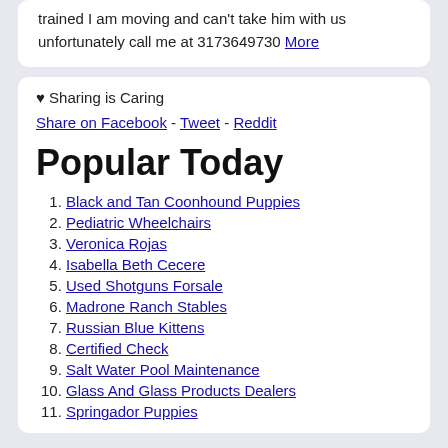trained I am moving and can't take him with us unfortunately call me at 3173649730 More
♥ Sharing is Caring
Share on Facebook - Tweet - Reddit
Popular Today
1. Black and Tan Coonhound Puppies
2. Pediatric Wheelchairs
3. Veronica Rojas
4. Isabella Beth Cecere
5. Used Shotguns Forsale
6. Madrone Ranch Stables
7. Russian Blue Kittens
8. Certified Check
9. Salt Water Pool Maintenance
10. Glass And Glass Products Dealers
11. Springador Puppies